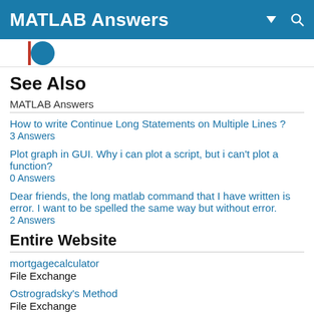MATLAB Answers
See Also
MATLAB Answers
How to write Continue Long Statements on Multiple Lines ?
3 Answers
Plot graph in GUI. Why i can plot a script, but i can't plot a function?
0 Answers
Dear friends, the long matlab command that I have written is error. I want to be spelled the same way but without error.
2 Answers
Entire Website
mortgagecalculator
File Exchange
Ostrogradsky's Method
File Exchange